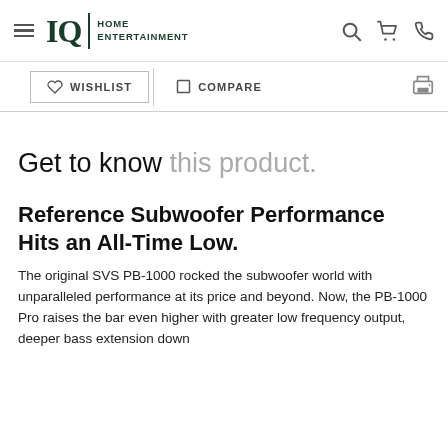IQ HOME ENTERTAINMENT
WISHLIST   COMPARE
Get to know this product.
Reference Subwoofer Performance Hits an All-Time Low.
The original SVS PB-1000 rocked the subwoofer world with unparalleled performance at its price and beyond. Now, the PB-1000 Pro raises the bar even higher with greater low frequency output, deeper bass extension down